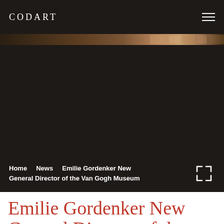CODART
[Figure (screenshot): Dark hero image strip showing museum interior painting details]
Home   News   Emilie Gordenker New General Director of the Van Gogh Museum
Emilie Gordenker New General Director of th